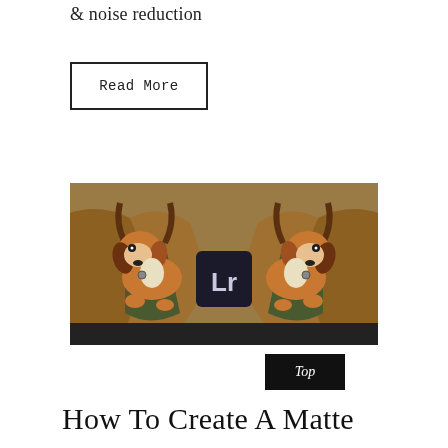& noise reduction
Read More
[Figure (photo): Mirrored image of a beagle puppy being held in a green canvas bag by a person wearing a brown jacket, with an Adobe Lightroom logo in the center]
Top
How To Create A Matte